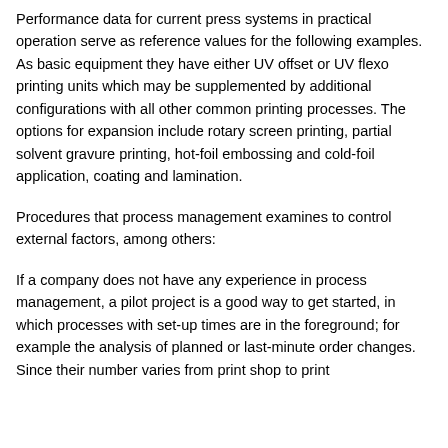Performance data for current press systems in practical operation serve as reference values for the following examples. As basic equipment they have either UV offset or UV flexo printing units which may be supplemented by additional configurations with all other common printing processes. The options for expansion include rotary screen printing, partial solvent gravure printing, hot-foil embossing and cold-foil application, coating and lamination.
Procedures that process management examines to control external factors, among others:
If a company does not have any experience in process management, a pilot project is a good way to get started, in which processes with set-up times are in the foreground; for example the analysis of planned or last-minute order changes. Since their number varies from print shop to print